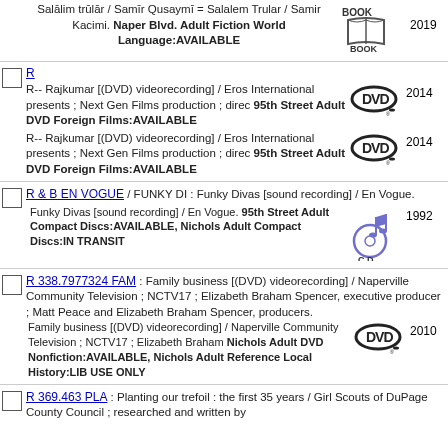Salālim trūlār / Samīr Qusaymī = Salalem Trular / Samir Kacimi. Naper Blvd. Adult Fiction World Language:AVAILABLE
[Figure (illustration): Book icon]
2019
R
R-- Rajkumar [(DVD) videorecording] / Eros International presents ; Next Gen Films production ; direc 95th Street Adult DVD Foreign Films:AVAILABLE
[Figure (illustration): DVD icon]
2014
R-- Rajkumar [(DVD) videorecording] / Eros International presents ; Next Gen Films production ; direc 95th Street Adult DVD Foreign Films:AVAILABLE
[Figure (illustration): DVD icon]
2014
R & B EN VOGUE / FUNKY DI : Funky Divas [sound recording] / En Vogue.
Funky Divas [sound recording] / En Vogue. 95th Street Adult Compact Discs:AVAILABLE, Nichols Adult Compact Discs:IN TRANSIT
[Figure (illustration): CD icon]
1992
R 338.7977324 FAM : Family business [(DVD) videorecording] / Naperville Community Television ; NCTV17 ; Elizabeth Braham Spencer, executive producer ; Matt Peace and Elizabeth Braham Spencer, producers.
Family business [(DVD) videorecording] / Naperville Community Television ; NCTV17 ; Elizabeth Braham Nichols Adult DVD Nonfiction:AVAILABLE, Nichols Adult Reference Local History:LIB USE ONLY
[Figure (illustration): DVD icon]
2010
R 369.463 PLA : Planting our trefoil : the first 35 years / Girl Scouts of DuPage County Council ; researched and written by